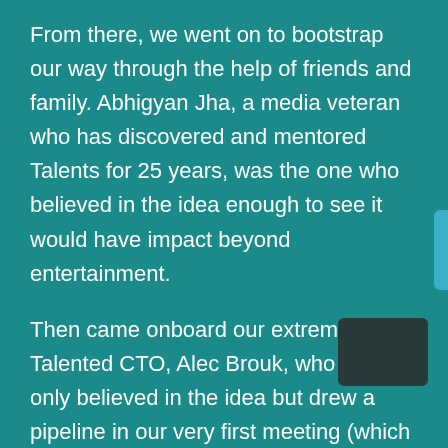From there, we went on to bootstrap our way through the help of friends and family. Abhigyan Jha, a media veteran who has discovered and mentored Talents for 25 years, was the one who believed in the idea enough to see it would have impact beyond entertainment.
Then came onboard our extremely Talented CTO, Alec Brouk, who not only believed in the idea but drew a pipeline in our very first meeting (which was scheduled to be an hour-long but ended up going on for 8 hours! Sorry Alec) that showed us how we could materialize our big idea. Thank you for your insight and perspective Alec.
That's our story. If a part, or all of it, resonates with you, make sure you help us make it a bestseller! We hope you